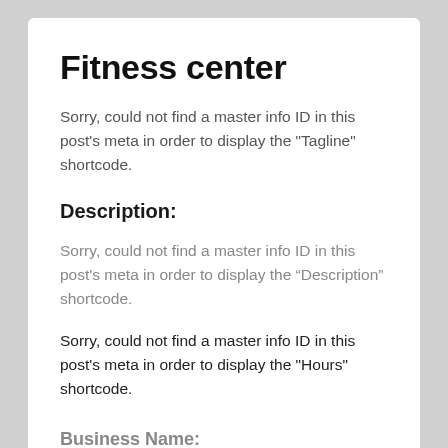Fitness center
Sorry, could not find a master info ID in this post's meta in order to display the "Tagline" shortcode.
Description:
Sorry, could not find a master info ID in this post's meta in order to display the “Description” shortcode.
Sorry, could not find a master info ID in this post's meta in order to display the "Hours" shortcode.
Business Name:
Sorry, could not find a master info ID in this